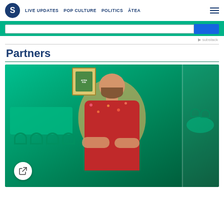S | LIVE UPDATES | POP CULTURE | POLITICS | ĀTEA
Partners
[Figure (photo): A bald bearded man wearing a red floral shirt sitting with arms crossed in a green-tinted modern conference room, with a Māori-themed poster on the wall. A share button icon is visible in the lower left corner.]